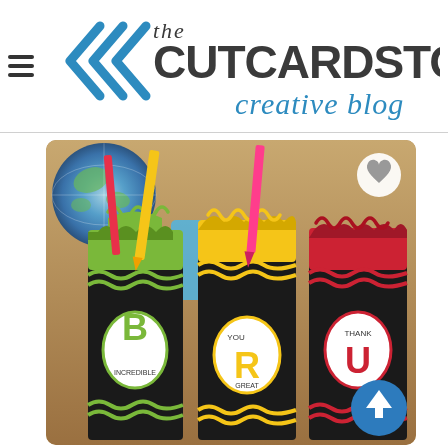[Figure (logo): The CutCardStock Creative Blog logo with teal/blue chevron arrows and stylized text]
[Figure (photo): Three crayon-shaped gift boxes in green, yellow, and red colors on a black background with wavy lines. Each box has a circular label with letters B, R, and U. Pencils and decorative elements stick out from the top. A globe is visible in the background.]